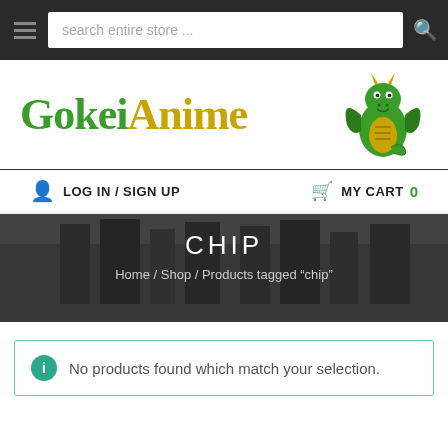search entire store ...
[Figure (logo): GokeiAnime logo with green dragon illustration]
LOG IN / SIGN UP   MY CART 0
CHIP
Home / Shop / Products tagged "chip"
No products found which match your selection.